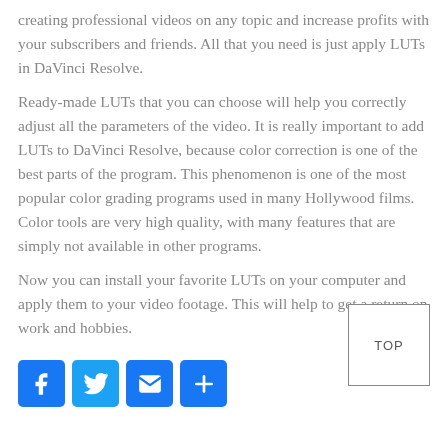creating professional videos on any topic and increase profits with your subscribers and friends. All that you need is just apply LUTs in DaVinci Resolve.
Ready-made LUTs that you can choose will help you correctly adjust all the parameters of the video. It is really important to add LUTs to DaVinci Resolve, because color correction is one of the best parts of the program. This phenomenon is one of the most popular color grading programs used in many Hollywood films. Color tools are very high quality, with many features that are simply not available in other programs.
Now you can install your favorite LUTs on your computer and apply them to your video footage. This will help to get a return on work and hobbies.
[Figure (other): Social share buttons: Facebook, Twitter, Email, Plus, and a TOP button]